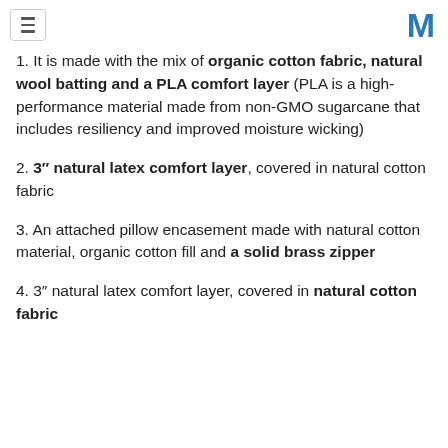[hamburger menu] [M logo]
1. It is made with the mix of organic cotton fabric, natural wool batting and a PLA comfort layer (PLA is a high-performance material made from non-GMO sugarcane that includes resiliency and improved moisture wicking)
2. 3" natural latex comfort layer, covered in natural cotton fabric
3. An attached pillow encasement made with natural cotton material, organic cotton fill and a solid brass zipper
4. 3" natural latex comfort layer, covered in natural cotton fabric